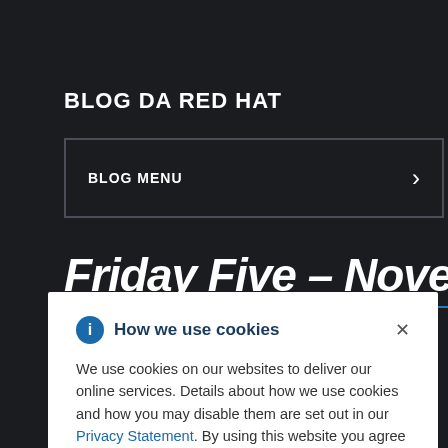BLOG DA RED HAT
BLOG MENU
Friday Five – November 11,
orporate
How we use cookies
We use cookies on our websites to deliver our online services. Details about how we use cookies and how you may disable them are set out in our Privacy Statement. By using this website you agree to our use of cookies.